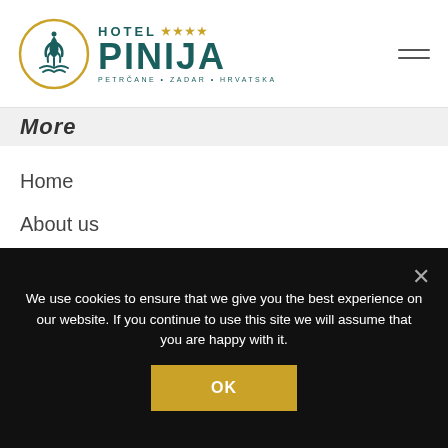[Figure (logo): Hotel Pinija logo with circular emblem and text: HOTEL **** PINIJA, PETRČANE • ZADAR • HRVATSKA]
More
Home
About us
How to reach us
Contact us
Gallery
We use cookies to ensure that we give you the best experience on our website. If you continue to use this site we will assume that you are happy with it.